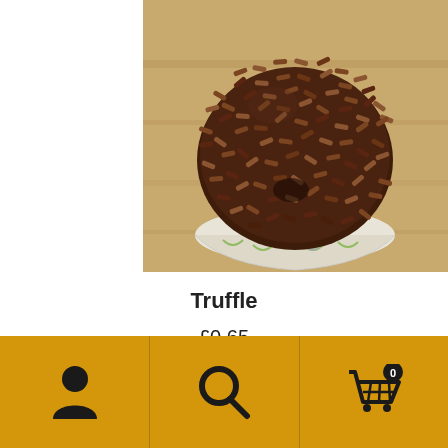[Figure (photo): Close-up photo of a chocolate truffle covered in chocolate sprinkles, sitting in a small white fluted paper cup, on a wooden surface.]
Truffle
£0.65
[Figure (infographic): Bottom navigation bar with amber/golden background containing three icons: user/person icon on the left, search/magnifying glass icon in the center, and shopping cart icon with '0' badge on the right.]